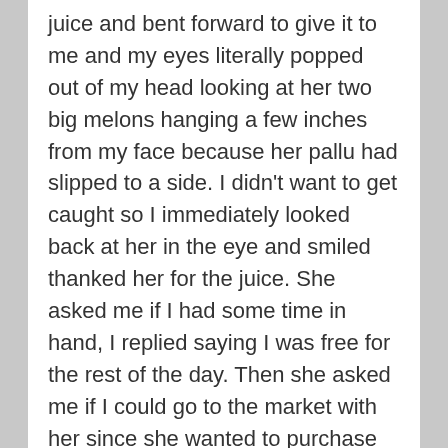juice and bent forward to give it to me and my eyes literally popped out of my head looking at her two big melons hanging a few inches from my face because her pallu had slipped to a side. I didn't want to get caught so I immediately looked back at her in the eye and smiled thanked her for the juice. She asked me if I had some time in hand, I replied saying I was free for the rest of the day. Then she asked me if I could go to the market with her since she wanted to purchase groceries and her son was out for tuitions hence there would be no disturbance… I immediately said sure and she said she will get ready and be back in a minute.She rushed to her room closing the door behind her, I wondered what more did she need to get ready since she just came back from